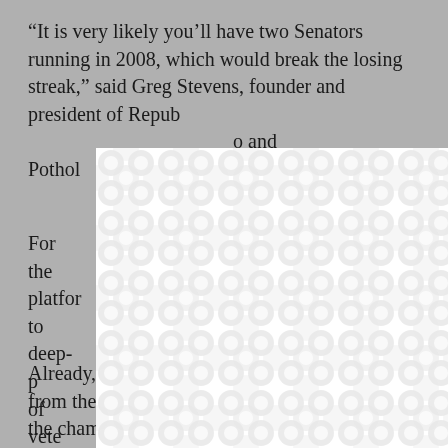“It is very likely you’ll have two Senators running in 2008, which would break the losing streak,” said Greg Stevens, founder and president of Republicans for Clean Air, Pothole and...
[Figure (other): White modal dialog box with a decorative patterned background (interlocking circles/bubbles pattern in light gray and white) and a close (X) button in the upper right corner, overlaying the text content.]
For the... tional platform... s to deep-p... vork of vete... preside...
Already, many of these Senators are benefiting from the trappings of the office. But service in the chamber also creates a paper trail built on votes